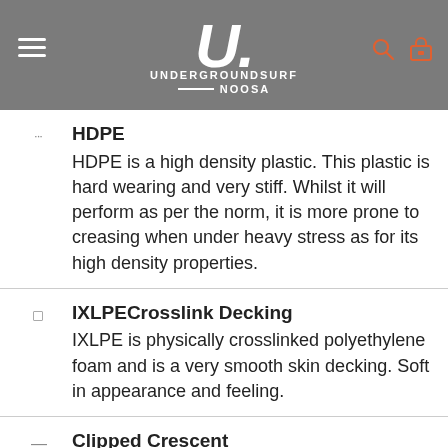UNDERGROUNDSURF NOOSA
HDPE — HDPE is a high density plastic. This plastic is hard wearing and very stiff. Whilst it will perform as per the norm, it is more prone to creasing when under heavy stress as for its high density properties.
IXLPECrosslink Decking — IXLPE is physically crosslinked polyethylene foam and is a very smooth skin decking. Soft in appearance and feeling.
Clipped Crescent — The clipped crescent tail is the most popular crescent tail option. This tail will perform when driving, turning, carving and releasing. Clipping the tail allows the rider to maximise